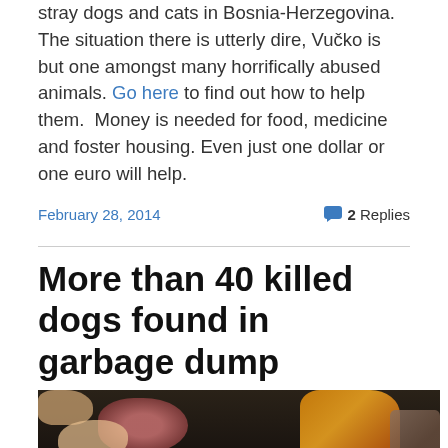stray dogs and cats in Bosnia-Herzegovina. The situation there is utterly dire, Vučko is but one amongst many horrifically abused animals. Go here to find out how to help them.  Money is needed for food, medicine and foster housing. Even just one dollar or one euro will help.
February 28, 2014
2 Replies
More than 40 killed dogs found in garbage dump
[Figure (photo): Photo showing multiple dead dogs piled together, with dark fur and some lighter colored animals visible, along with what appears to be an orange plastic bag or material in the background.]